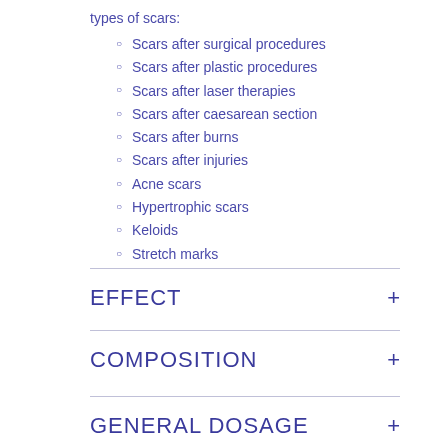types of scars:
Scars after surgical procedures
Scars after plastic procedures
Scars after laser therapies
Scars after caesarean section
Scars after burns
Scars after injuries
Acne scars
Hypertrophic scars
Keloids
Stretch marks
EFFECT
COMPOSITION
GENERAL DOSAGE